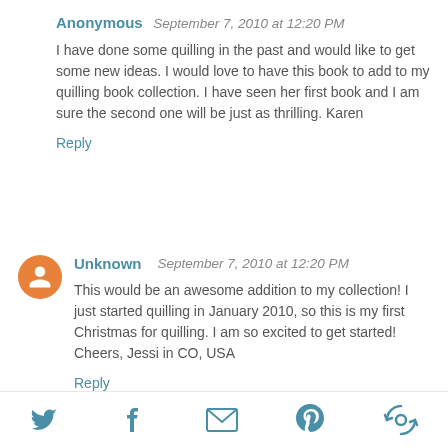Anonymous  September 7, 2010 at 12:20 PM
I have done some quilling in the past and would like to get some new ideas. I would love to have this book to add to my quilling book collection. I have seen her first book and I am sure the second one will be just as thrilling. Karen
Reply
[Figure (illustration): Orange circular blogger avatar icon with white letter/person symbol]
Unknown  September 7, 2010 at 12:20 PM
This would be an awesome addition to my collection! I just started quilling in January 2010, so this is my first Christmas for quilling. I am so excited to get started!
Cheers, Jessi in CO, USA
Reply
beehappy  September 7, 2010 at 12:27 PM
Twitter, Facebook, Email, Pinterest, Other social share icons